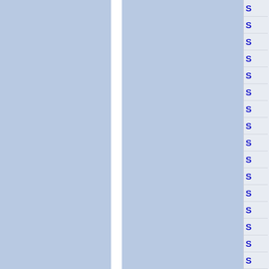[Figure (other): Two large light blue rectangular panels side by side with a white vertical divider between them, occupying the left portion of the page.]
[Figure (other): A vertical column of cells on the right edge, each containing a blue letter 'S', resembling a sidebar or index tab strip with 16 rows.]